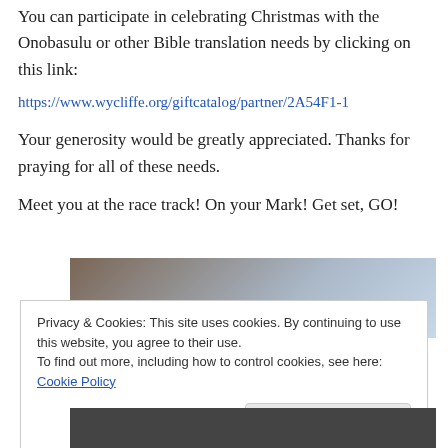You can participate in celebrating Christmas with the Onobasulu or other Bible translation needs by clicking on this link:
https://www.wycliffe.org/giftcatalog/partner/2A54F1-1
Your generosity would be greatly appreciated. Thanks for praying for all of these needs.
Meet you at the race track! On your Mark! Get set, GO!
[Figure (photo): Partial photo showing books and sky, cropped behind cookie consent bar]
Privacy & Cookies: This site uses cookies. By continuing to use this website, you agree to their use.
To find out more, including how to control cookies, see here: Cookie Policy
Close and accept